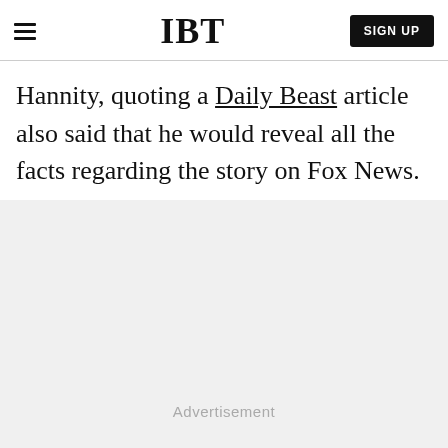IBT
Hannity, quoting a Daily Beast article also said that he would reveal all the facts regarding the story on Fox News.
[Figure (other): Advertisement placeholder area with light gray background and 'Advertisement' label]